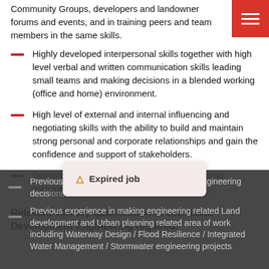Community Groups, developers and landowner forums and events, and in training peers and team members in the same skills.
Highly developed interpersonal skills together with high level verbal and written communication skills leading small teams and making decisions in a blended working (office and home) environment.
High level of external and internal influencing and negotiating skills with the ability to build and maintain strong personal and corporate relationships and gain the confidence and support of stakeholders.
Demonstrated ability in using asset and process management technology, systems,
Relevant Tertiary qualification in Civil/Land Development Engineering required.
Previous experience [obscured] in complex Civil Engineering decisions
Previous experience in making engineering related Land development and Urban planning related area of work including Waterway Design / Flood Resilience / Integrated Water Management / Stormwater engineering projects